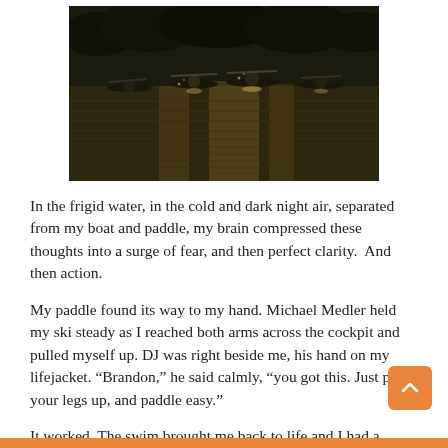[Figure (photo): Kayakers paddling on a calm lake or river at dusk or dawn, backlit by golden light reflecting off the water, with dark treeline in the background.]
In the frigid water, in the cold and dark night air, separated from my boat and paddle, my brain compressed these thoughts into a surge of fear, and then perfect clarity.  And then action.
My paddle found its way to my hand. Michael Medler held my ski steady as I reached both arms across the cockpit and pulled myself up. DJ was right beside me, his hand on my lifejacket. “Brandon,” he said calmly, “you got this. Just pull your legs up, and paddle easy.”
It worked. The swim brought me back to life and I had a